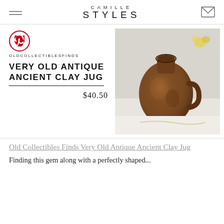CAMILLE STYLES
[Figure (photo): Photograph of a very old antique ancient clay jug, brown and weathered, with a handle, on a white surface with yellow flowers in background]
OLDCOLLECTIBLESFINDS
VERY OLD ANTIQUE ANCIENT CLAY JUG
$40.50
Old Collectibles Finds Very Old Antique Ancient Clay Jug
Finding this gem along with a perfectly shaped...